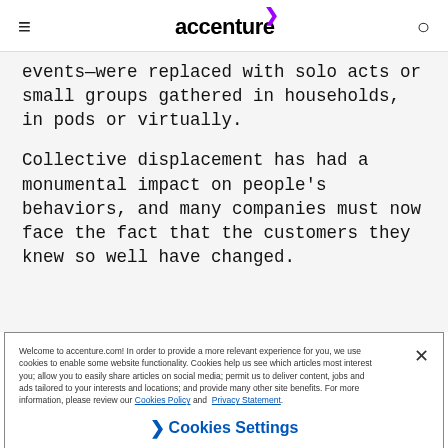accenture
events—were replaced with solo acts or small groups gathered in households, in pods or virtually.
Collective displacement has had a monumental impact on people's behaviors, and many companies must now face the fact that the customers they knew so well have changed.
Welcome to accenture.com! In order to provide a more relevant experience for you, we use cookies to enable some website functionality. Cookies help us see which articles most interest you; allow you to easily share articles on social media; permit us to deliver content, jobs and ads tailored to your interests and locations; and provide many other site benefits. For more information, please review our Cookies Policy and Privacy Statement.
Cookies Settings